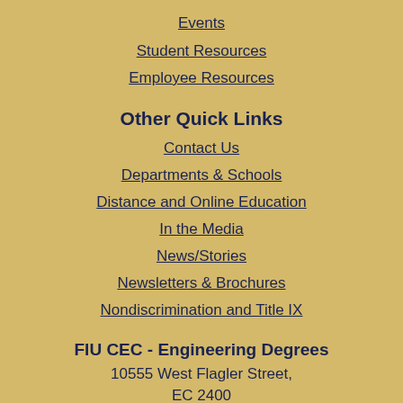Events
Student Resources
Employee Resources
Other Quick Links
Contact Us
Departments & Schools
Distance and Online Education
In the Media
News/Stories
Newsletters & Brochures
Nondiscrimination and Title IX
FIU CEC - Engineering Degrees
10555 West Flagler Street,
EC 2400
Miami, FL 33174